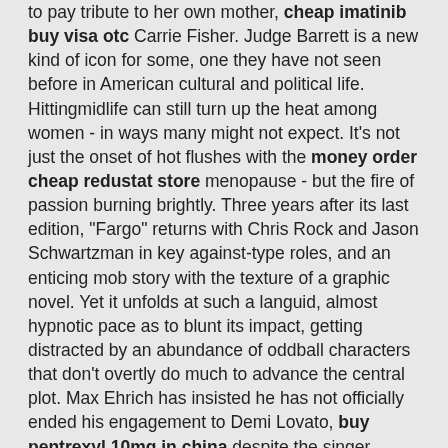to pay tribute to her own mother, cheap imatinib buy visa otc Carrie Fisher. Judge Barrett is a new kind of icon for some, one they have not seen before in American cultural and political life. Hittingmidlife can still turn up the heat among women - in ways many might not expect. It's not just the onset of hot flushes with the money order cheap redustat store menopause - but the fire of passion burning brightly. Three years after its last edition, "Fargo" returns with Chris Rock and Jason Schwartzman in key against-type roles, and an enticing mob story with the texture of a graphic novel. Yet it unfolds at such a languid, almost hypnotic pace as to blunt its impact, getting distracted by an abundance of oddball characters that don't overtly do much to advance the central plot. Max Ehrich has insisted he has not officially ended his engagement to Demi Lovato, buy pentrexyl 10mg in china despite the singer revealing last week they have broken up after six months together. Boris Johnson last night denounced dismal MPs for refusing to project giant images of British Olympic and Paralympic heroes where to purchase binocrit store europe on to the Houses of Parliament. England's traditionally Conservative heartlands will have to find space for 1.5 million new homes under Government plans to introduce a 'mutant' planning algorithm. The market is at all-time highs and many say Trump is the reason. But stocks were rallying when investors thought Hillary Clinton would win. Janet generic clostilbegyt purchase now pharmacy Yellen and the Fed may deserve more of the credit for the market's move. What do you do when your world is burning? In mundane and harrowing ways, you figure out how to survive. District Judge Carl Nichols on Sunday evening granted a preliminary injunction sought by TikTok owner ByteDance, which